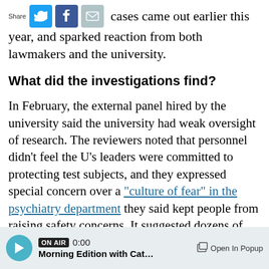[Figure (other): Share bar with Twitter, Facebook, and email icon buttons, followed by partial intro text beginning with 'cases came out earlier this year, and sparked reaction from both lawmakers and the university.']
cases came out earlier this year, and sparked reaction from both lawmakers and the university.
What did the investigations find?
In February, the external panel hired by the university said the university had weak oversight of research. The reviewers noted that personnel didn't feel the U's leaders were committed to protecting test subjects, and they expressed special concern over a "culture of fear" in the psychiatry department they said kept people from raising safety concerns. It suggested dozens of reforms.
[Figure (other): Audio player bar showing ON AIR badge, time 0:00, program name 'Morning Edition with Cathy W', play button, and Open In Popup link.]